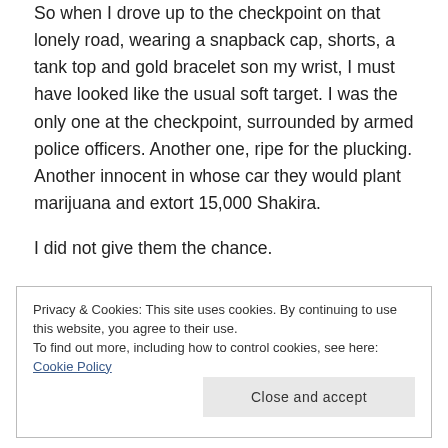So when I drove up to the checkpoint on that lonely road, wearing a snapback cap, shorts, a tank top and gold bracelet son my wrist, I must have looked like the usual soft target. I was the only one at the checkpoint, surrounded by armed police officers. Another one, ripe for the plucking. Another innocent in whose car they would plant marijuana and extort 15,000 Shakira.
I did not give them the chance.
Privacy & Cookies: This site uses cookies. By continuing to use this website, you agree to their use.
To find out more, including how to control cookies, see here: Cookie Policy